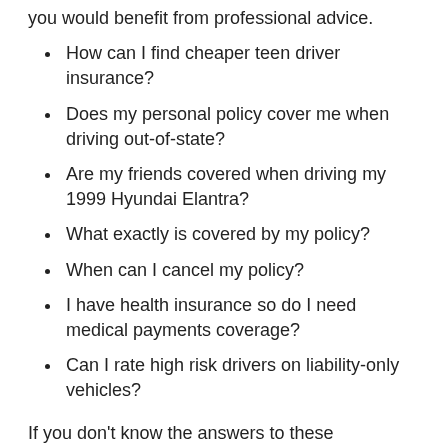you would benefit from professional advice.
How can I find cheaper teen driver insurance?
Does my personal policy cover me when driving out-of-state?
Are my friends covered when driving my 1999 Hyundai Elantra?
What exactly is covered by my policy?
When can I cancel my policy?
I have health insurance so do I need medical payments coverage?
Can I rate high risk drivers on liability-only vehicles?
If you don't know the answers to these questions, you